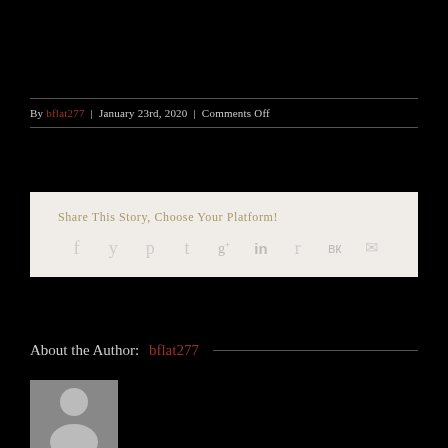By bflat277 | January 23rd, 2020 | Comments Off
Share This Story, Choose Your Platform!
[Figure (infographic): Social share icons: Facebook, Twitter, Pinterest, Tumblr, Google+, LinkedIn, Reddit, VK, Email]
About the Author: bflat277
[Figure (photo): Generic grey user avatar silhouette placeholder image]